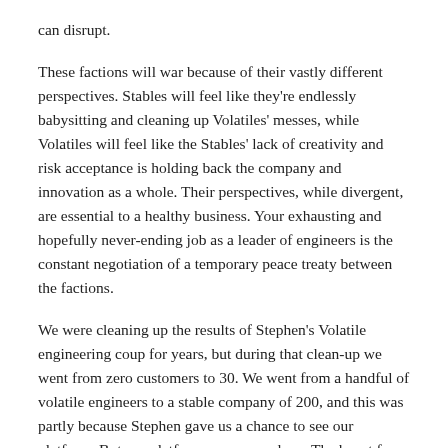can disrupt.
These factions will war because of their vastly different perspectives. Stables will feel like they're endlessly babysitting and cleaning up Volatiles' messes, while Volatiles will feel like the Stables' lack of creativity and risk acceptance is holding back the company and innovation as a whole. Their perspectives, while divergent, are essential to a healthy business. Your exhausting and hopefully never-ending job as a leader of engineers is the constant negotiation of a temporary peace treaty between the factions.
We were cleaning up the results of Stephen's Volatile engineering coup for years, but during that clean-up we went from zero customers to 30. We went from a handful of volatile engineers to a stable company of 200, and this was partly because Stephen gave us a chance to see our platform. But our platform was never done. The boost from Stephen got us out the door, but we were forever in a state of functional incompleteness and architectural inconsistency. The second-generation Volatiles pointed this out, but the Stables assured us that better is the enemy of done.